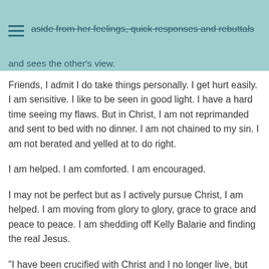aside from her feelings, quick responses and rebuttals and sees the other's view.
Friends, I admit I do take things personally. I get hurt easily. I am sensitive. I like to be seen in good light. I have a hard time seeing my flaws. But in Christ, I am not reprimanded and sent to bed with no dinner. I am not chained to my sin. I am not berated and yelled at to do right.
I am helped. I am comforted. I am encouraged.
I may not be perfect but as I actively pursue Christ, I am helped. I am moving from glory to glory, grace to grace and peace to peace. I am shedding off Kelly Balarie and finding the real Jesus.
"I have been crucified with Christ and I no longer live, but